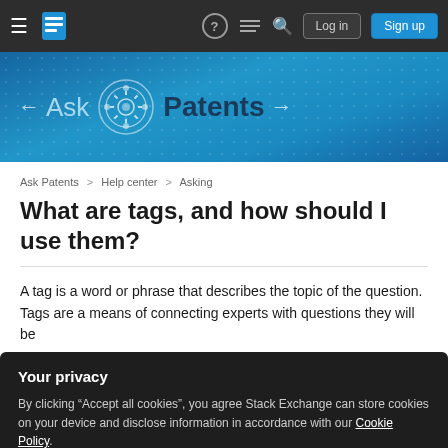Stack Exchange navigation bar with hamburger menu, logo, icons (help, chat, search), Log in, Sign up buttons
[Figure (logo): Ask Patents logo banner — blue gradient background with gear icon, text 'Ask' and 'Patents', horizontal arrows]
Ask Patents > Help center > Asking
What are tags, and how should I use them?
A tag is a word or phrase that describes the topic of the question. Tags are a means of connecting experts with questions they will be
Your privacy
By clicking "Accept all cookies", you agree Stack Exchange can store cookies on your device and disclose information in accordance with our Cookie Policy.
Accept all cookies   Customize settings
Clicking on a tag below a question brings you to a page that shows